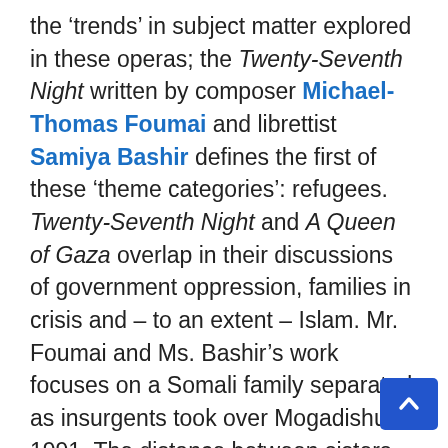the 'trends' in subject matter explored in these operas; the Twenty-Seventh Night written by composer Michael-Thomas Foumai and librettist Samiya Bashir defines the first of these 'theme categories': refugees. Twenty-Seventh Night and A Queen of Gaza overlap in their discussions of government oppression, families in crisis and – to an extent – Islam. Mr. Foumai and Ms. Bashir's work focuses on a Somali family separated as insurgents took over Mogadishu in 1991. The distance between sisters Leyla (Jenny Nash), Sagal (Jennifer Goltz) and brother Assad (Ben Sieverding) was reflected in Mr. Foumai's score and the staging, which included placing Mr. Sieverding on an upper level of the UMMA as he searched for his sisters. The music in Twenty-Seventh